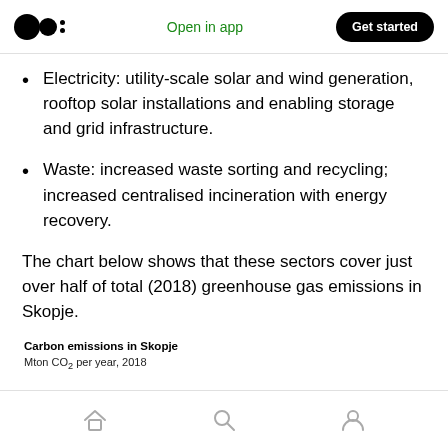Open in app | Get started
Electricity: utility-scale solar and wind generation, rooftop solar installations and enabling storage and grid infrastructure.
Waste: increased waste sorting and recycling; increased centralised incineration with energy recovery.
The chart below shows that these sectors cover just over half of total (2018) greenhouse gas emissions in Skopje.
Carbon emissions in Skopje
Mton CO₂ per year, 2018